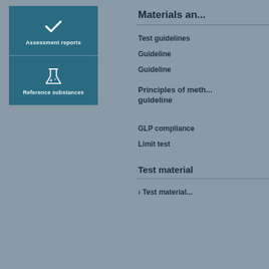[Figure (infographic): Teal/dark blue box with two sections: top section shows a checkmark icon with label 'Assessment reports', bottom section shows a flask/beaker icon with label 'Reference substances']
Materials an...
Test guidelines
Guideline
Guideline
Principles of meth... guideline
GLP compliance
Limit test
Test material
Test material...